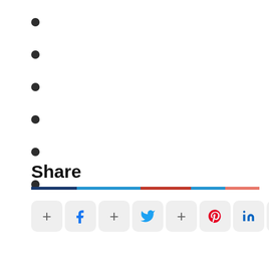Share
[Figure (infographic): Share buttons row: Facebook, Twitter, Pinterest, LinkedIn, Email, and scroll-to-top button with a red/blue divider line above]